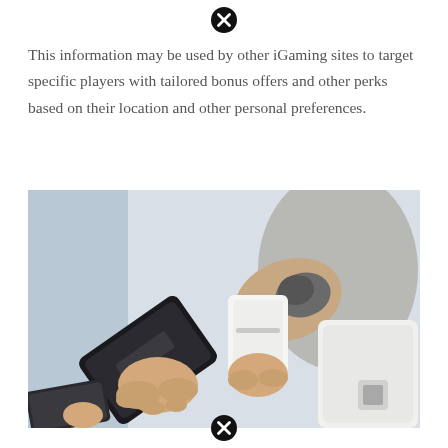[Figure (other): Close/dismiss icon (circle with X) at top center of page]
This information may be used by other iGaming sites to target specific players with tailored bonus offers and other perks based on their location and other personal preferences.
[Figure (photo): Photo of a person holding a smartphone near a payment terminal/card reader, with another person's tattooed arm visible in the background. The scene depicts a contactless or mobile payment transaction.]
[Figure (other): Close/dismiss icon (circle with X) at bottom center of page]